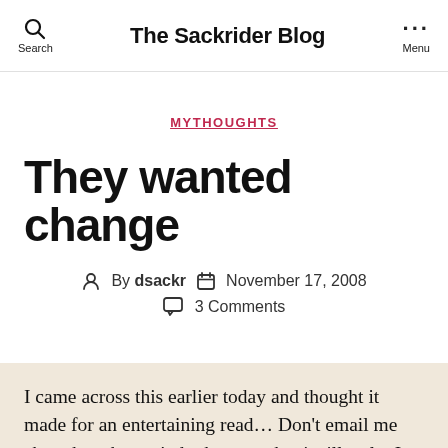The Sackrider Blog
MYTHOUGHTS
They wanted change
By dsackr  November 17, 2008  3 Comments
I came across this earlier today and thought it made for an entertaining read… Don't email me about how he can't do that – or that its illegal – I don't care… I just thought it was funny.